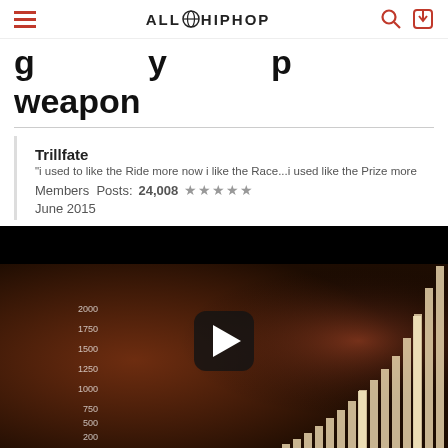ALL HIP HOP
g... y... p... weapon
Trillfate
"i used to like the Ride more now i like the Race...i used like the Prize more
Members  Posts: 24,008  ★★★★★
June 2015
[Figure (screenshot): Video thumbnail showing NBA basketball players including a player in Indiana Pacers jersey and Stephen Curry, with a bar chart overlay and a play button in the center]